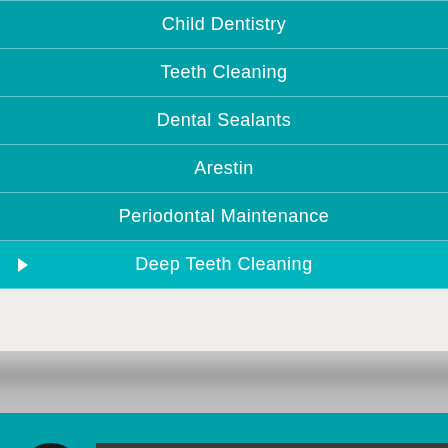Child Dentistry
Teeth Cleaning
Dental Sealants
Arestin
Periodontal Maintenance
Deep Teeth Cleaning
SCHEDULE AN APPOINTMENT
M–F 800–5:00